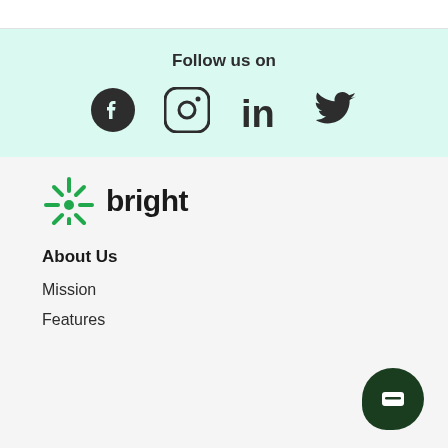Follow us on
[Figure (illustration): Social media icons: Facebook, Instagram, LinkedIn, Twitter]
[Figure (logo): Bright company logo with green leaf/spark icon and the word 'bright']
About Us
Mission
Features